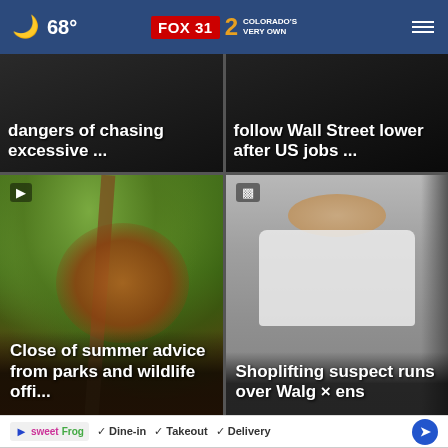68° FOX31 2 COLORADO'S VERY OWN
[Figure (screenshot): News card top-left: 'dangers of chasing excessive ...' on dark background]
[Figure (screenshot): News card top-right: 'follow Wall Street lower after US jobs ...' on dark background]
[Figure (photo): News card bottom-left: animal in tree with overlay text 'Close of summer advice from parks and wildlife offi...' with video play icon]
[Figure (photo): News card bottom-right: shoplifting suspect in store with overlay text 'Shoplifting suspect runs over Walg x ens' with gallery icon]
✓ Dine-in ✓ Takeout ✓ Delivery — sweetFrog advertisement